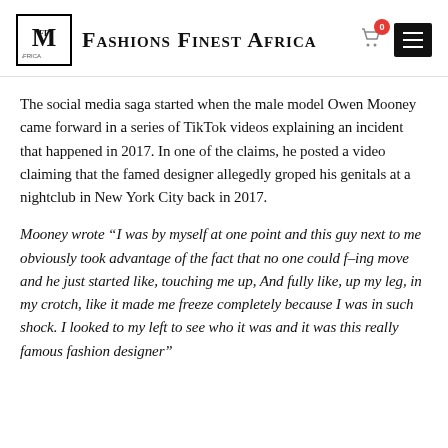Fashions Finest Africa
The social media saga started when the male model Owen Mooney came forward in a series of TikTok videos explaining an incident that happened in 2017. In one of the claims, he posted a video claiming that the famed designer allegedly groped his genitals at a nightclub in New York City back in 2017.
Mooney wrote “I was by myself at one point and this guy next to me obviously took advantage of the fact that no one could f–ing move and he just started like, touching me up, And fully like, up my leg, in my crotch, like it made me freeze completely because I was in such shock. I looked to my left to see who it was and it was this really famous fashion designer”